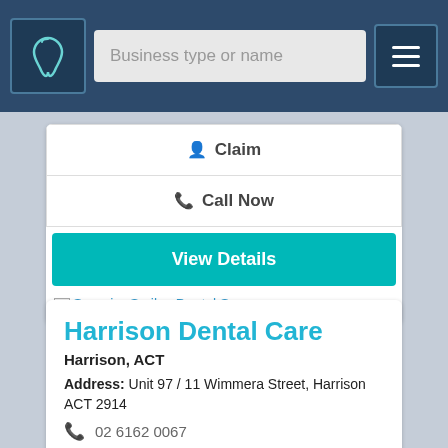[Figure (screenshot): Navigation bar with dental logo, search input placeholder 'Business type or name', and hamburger menu icon]
Claim
Call Now
View Details
Superior Smiles Dental Surgery
Harrison Dental Care
Harrison, ACT
Address: Unit 97 / 11 Wimmera Street, Harrison ACT 2914
02 6162 0067